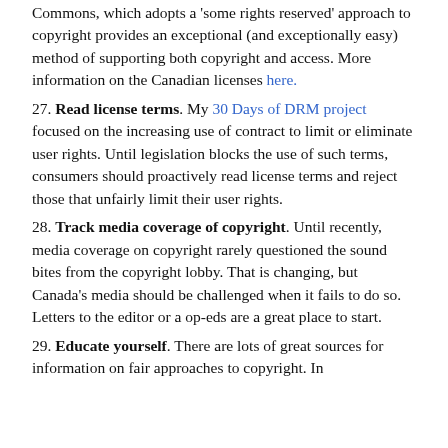Commons, which adopts a 'some rights reserved' approach to copyright provides an exceptional (and exceptionally easy) method of supporting both copyright and access. More information on the Canadian licenses here.
27. Read license terms. My 30 Days of DRM project focused on the increasing use of contract to limit or eliminate user rights. Until legislation blocks the use of such terms, consumers should proactively read license terms and reject those that unfairly limit their user rights.
28. Track media coverage of copyright. Until recently, media coverage on copyright rarely questioned the sound bites from the copyright lobby. That is changing, but Canada's media should be challenged when it fails to do so. Letters to the editor or a op-eds are a great place to start.
29. Educate yourself. There are lots of great sources for information on fair approaches to copyright. In